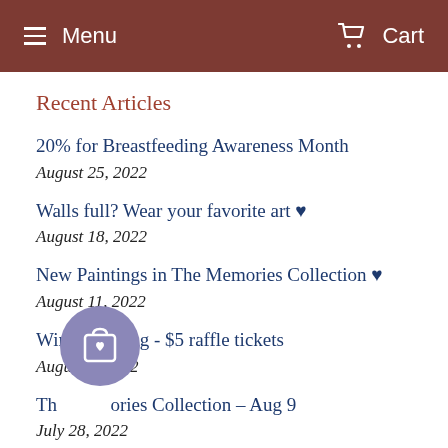Menu   Cart
Recent Articles
20% for Breastfeeding Awareness Month
August 25, 2022
Walls full? Wear your favorite art ♥
August 18, 2022
New Paintings in The Memories Collection ♥
August 11, 2022
Win a Painting - $5 raffle tickets
August 4, 2022
The Memories Collection – Aug 9
July 28, 2022
[Figure (illustration): Floating circular button with a shopping bag and heart icon, in muted purple/lavender color]